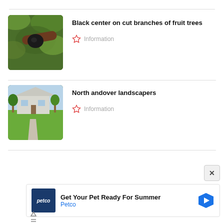Black center on cut branches of fruit trees — Information
North andover landscapers — Information
[Figure (infographic): Advertisement: Petco — Get Your Pet Ready For Summer]